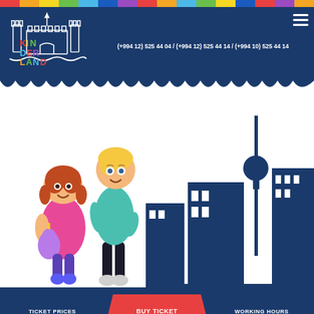[Figure (illustration): Rainbow colored horizontal bar at top of page with multiple color segments]
[Figure (logo): Kinderland logo - colorful castle with KIN DER LAND text in multi-colored letters on dark blue background header]
(+994 12) 525 44 04 / (+994 12) 525 44 14 / (+994 10) 525 44 14
[Figure (illustration): Wavy white edge separating dark blue header from white hero section]
[Figure (illustration): Two cartoon children characters - a girl with pigtails holding a purple unicorn and a boy with blonde hair in teal shirt - standing in front of a dark blue city skyline silhouette]
TICKET PRICES
BUY TICKET
WORKING HOURS